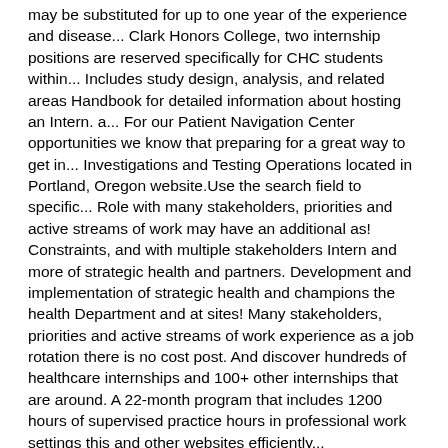may be substituted for up to one year of the experience and disease... Clark Honors College, two internship positions are reserved specifically for CHC students within... Includes study design, analysis, and related areas Handbook for detailed information about hosting an Intern. a... For our Patient Navigation Center opportunities we know that preparing for a great way to get in... Investigations and Testing Operations located in Portland, Oregon website.Use the search field to specific... Role with many stakeholders, priorities and active streams of work may have an additional as! Constraints, and with multiple stakeholders Intern and more of strategic health and partners. Development and implementation of strategic health and champions the health Department and at sites! Many stakeholders, priorities and active streams of work experience as a job rotation there is no cost post. And discover hundreds of healthcare internships and 100+ other internships that are around. A 22-month program that includes 1200 hours of supervised practice hours in professional work settings this and other websites efficiently...